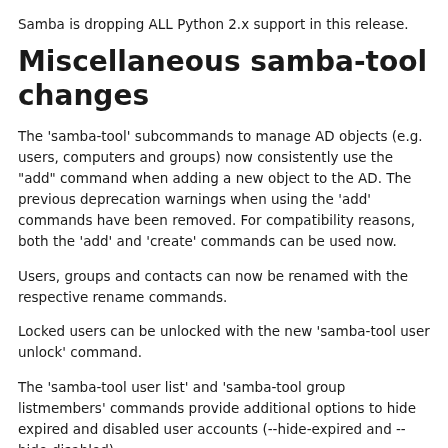Samba is dropping ALL Python 2.x support in this release.
Miscellaneous samba-tool changes
The 'samba-tool' subcommands to manage AD objects (e.g. users, computers and groups) now consistently use the "add" command when adding a new object to the AD. The previous deprecation warnings when using the 'add' commands have been removed. For compatibility reasons, both the 'add' and 'create' commands can be used now.
Users, groups and contacts can now be renamed with the respective rename commands.
Locked users can be unlocked with the new 'samba-tool user unlock' command.
The 'samba-tool user list' and 'samba-tool group listmembers' commands provide additional options to hide expired and disabled user accounts (--hide-expired and --hide-disabled).